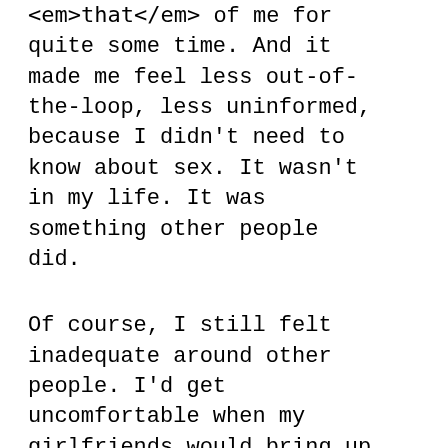<em>that</em> of me for quite some time. And it made me feel less out-of-the-loop, less uninformed, because I didn't need to know about sex. It wasn't in my life. It was something other people did.
Of course, I still felt inadequate around other people. I'd get uncomfortable when my girlfriends would bring up their sex lives, and I know they kept it brief and cryptic when I was there so they could have a real conversation after I